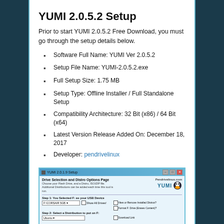YUMI 2.0.5.2 Setup
Prior to start YUMI 2.0.5.2 Free Download, you must go through the setup details below.
Software Full Name: YUMI Ver 2.0.5.2
Setup File Name: YUMI-2.0.5.2.exe
Full Setup Size: 1.75 MB
Setup Type: Offline Installer / Full Standalone Setup
Compatibility Architecture: 32 Bit (x86) / 64 Bit (x64)
Latest Version Release Added On: December 18, 2017
Developer: pendrivelinux
[Figure (screenshot): Screenshot of YUMI 2.0.1.9 Setup window showing Drive Selection and Distro Options Page with Pendrivelinux.com YUMI logo, drive selection dropdown, Show All Drives checkbox, View or Remove Installed Distros checkbox, Format Drive checkbox, Step 2 distribution selector showing Ubuntu, Download Link, and Visit the Ubuntu Home Page link.]